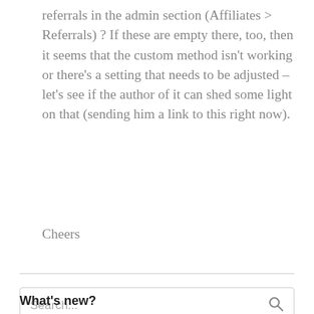referrals in the admin section (Affiliates > Referrals) ? If these are empty there, too, then it seems that the custom method isn't working or there's a setting that needs to be adjusted – let's see if the author of it can shed some light on that (sending him a link to this right now).
Cheers
Search...
What's new?